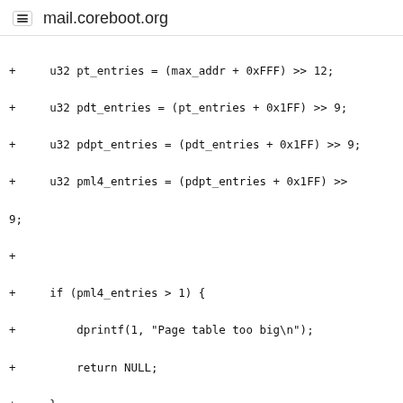mail.coreboot.org
+ u32 pt_entries = (max_addr + 0xFFF) >> 12;
+ u32 pdt_entries = (pt_entries + 0x1FF) >> 9;
+ u32 pdpt_entries = (pdt_entries + 0x1FF) >> 9;
+ u32 pml4_entries = (pdpt_entries + 0x1FF) >>
9;
+
+ if (pml4_entries > 1) {
+ dprintf(1, "Page table too big\n");
+ return NULL;
+ }
+
+ u32 table_size = (pdt_entries << 12) // PT size
+ + (pdpt_entries << 12) // PDT size
+ + (pml4_entries << 12) // PDPT size
+ + ((pml4_entries + 0xFFF) >>
12); // PML4 size